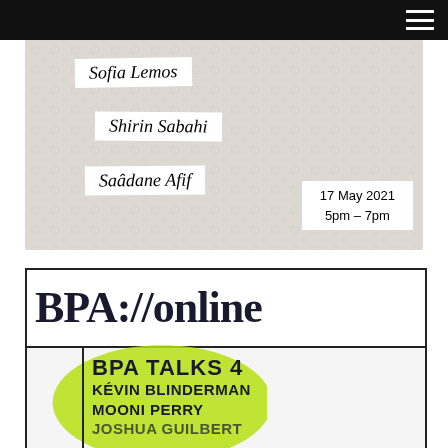[Figure (photo): Handwritten name tags on tissue paper showing Sofia Lemos (partially visible), Shirin Sabahi, Saâdane Afif, with date 17 May 2021, 5pm - 7pm]
[Figure (photo): BPA://online promotional image showing BPA TALKS 4 with speakers Kévin Blinderman, Mooni Perry, and a third partially visible name, with a green blob graphic element]